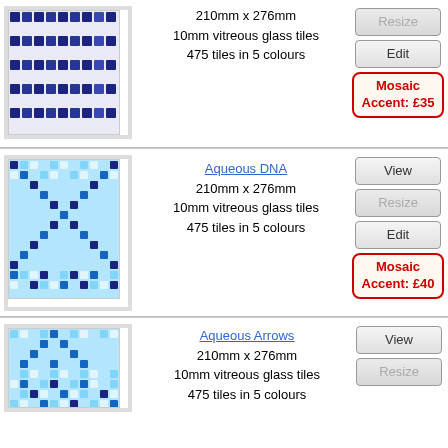[Figure (illustration): Blue mosaic tile pattern - horizontal stripe design, partial view at top of page]
210mm x 276mm
10mm vitreous glass tiles
475 tiles in 5 colours
Resize
Edit
Mosaic Accent: £35
[Figure (illustration): Aqueous DNA - blue mosaic tile pattern with DNA helix design in darker blue tiles on light blue background]
Aqueous DNA
210mm x 276mm
10mm vitreous glass tiles
475 tiles in 5 colours
View
Resize
Edit
Mosaic Accent: £40
[Figure (illustration): Aqueous Arrows - blue mosaic tile pattern with arrow design]
Aqueous Arrows
210mm x 276mm
10mm vitreous glass tiles
475 tiles in 5 colours
View
Resize